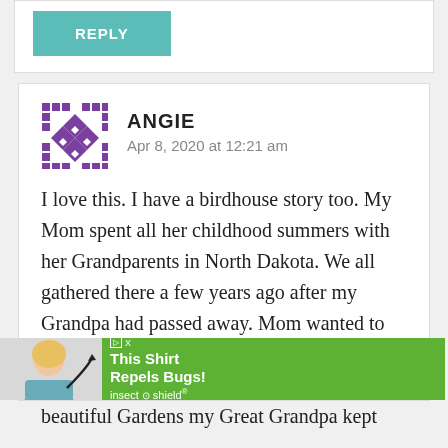REPLY
ANGIE
Apr 8, 2020 at 12:21 am
I love this. I have a birdhouse story too. My Mom spent all her childhood summers with her Grandparents in North Dakota. We all gathered there a few years ago after my Grandpa had passed away. Mom wanted to drive past her Grandparents house and it was so very sad because it is now a rental and the beautiful Gardens my Great Grandpa kept were...
[Figure (photo): Advertisement banner showing a woman in blue shirt with arrow pointing at her, green background with text 'This Shirt Repels Bugs! insect o shield']